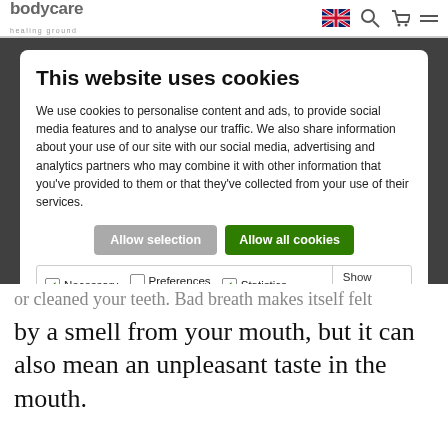bodycare healing ground
This website uses cookies
We use cookies to personalise content and ads, to provide social media features and to analyse our traffic. We also share information about your use of our site with our social media, advertising and analytics partners who may combine it with other information that you've provided to them or that they've collected from your use of their services.
Allow selection | Allow all cookies
| Options | Show details |
| --- | --- |
| Necessary  Preferences  Statistics | Show details |
| Marketing |  |
or cleaned your teeth. Bad breath makes itself felt by a smell from your mouth, but it can also mean an unpleasant taste in the mouth.